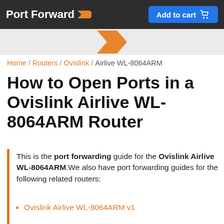Port Forward | Add to cart
Home / Routers / Ovislink / Airlive WL-8064ARM
How to Open Ports in a Ovislink Airlive WL-8064ARM Router
This is the port forwarding guide for the Ovislink Airlive WL-8064ARM.We also have port forwarding guides for the following related routers:
Ovislink Airlive WL-8064ARM v1
Pick the guide that most closely matches your